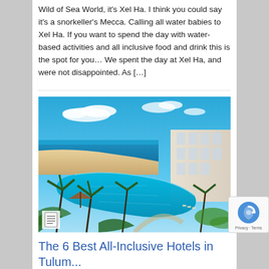Wild of Sea World, it's Xel Ha. I think you could say it's a snorkeller's Mecca. Calling all water babies to Xel Ha. If you want to spend the day with water-based activities and all inclusive food and drink this is the spot for you… We spent the day at Xel Ha, and were not disappointed.  As […]
[Figure (photo): Aerial or elevated view of a luxury all-inclusive resort in Tulum/Riviera Maya, Mexico, showing a large curved pool, palm trees, beach, and turquoise ocean in the background under a blue sky with clouds.]
The 6 Best All-Inclusive Hotels in Tulum...